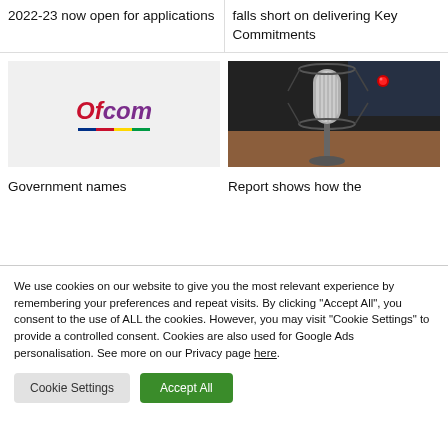2022-23 now open for applications
falls short on delivering Key Commitments
[Figure (logo): Ofcom logo on light grey background]
[Figure (photo): Close-up photo of a studio microphone with a red recording light]
Government names
Report shows how the
We use cookies on our website to give you the most relevant experience by remembering your preferences and repeat visits. By clicking "Accept All", you consent to the use of ALL the cookies. However, you may visit "Cookie Settings" to provide a controlled consent. Cookies are also used for Google Ads personalisation. See more on our Privacy page here.
Cookie Settings
Accept All